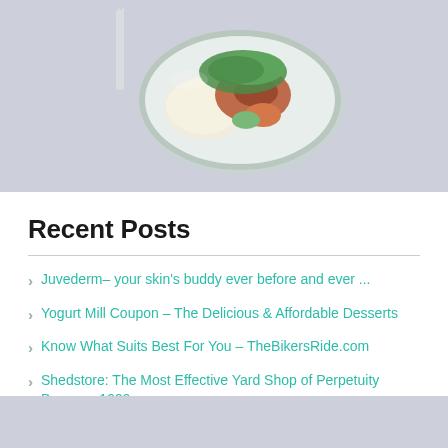[Figure (photo): A bowl of food with rice, protein, vegetables and greens on a light blue-gray background with a fork visible]
Recent Posts
Juvederm– your skin's buddy ever before and ever ...
Yogurt Mill Coupon – The Delicious & Affordable Desserts
Know What Suits Best For You – TheBikersRide.com
Shedstore: The Most Effective Yard Shop of Perpetuity Because 1999.
Oviala – Le Meilleur Endroit Pour Obtenir Des Tables à Manger